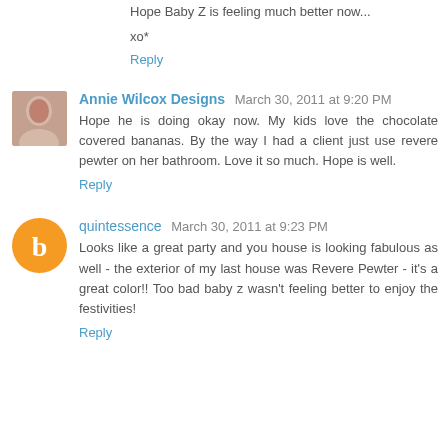Hope Baby Z is feeling much better now...
xo*
Reply
Annie Wilcox Designs  March 30, 2011 at 9:20 PM
Hope he is doing okay now. My kids love the chocolate covered bananas. By the way I had a client just use revere pewter on her bathroom. Love it so much. Hope is well.
Reply
quintessence  March 30, 2011 at 9:23 PM
Looks like a great party and you house is looking fabulous as well - the exterior of my last house was Revere Pewter - it's a great color!! Too bad baby z wasn't feeling better to enjoy the festivities!
Reply